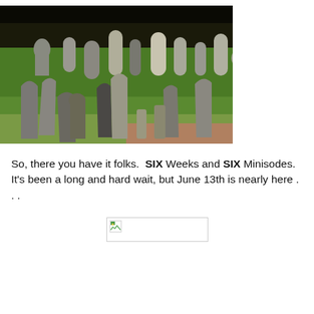[Figure (photo): Photograph of a cemetery with many old gravestones on a green grass lawn, viewed from a low angle. Numerous gray stone grave markers of various shapes and sizes are visible, with a dark background of trees.]
So, there you have it folks.  SIX Weeks and SIX Minisodes.  It's been a long and hard wait, but June 13th is nearly here . . .
[Figure (photo): Broken/missing image placeholder with small image icon]